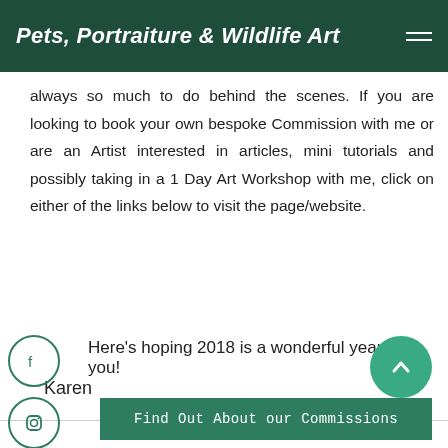Pets, Portraiture & Wildlife Art
always so much to do behind the scenes. If you are looking to book your own bespoke Commission with me or are an Artist interested in articles, mini tutorials and possibly taking in a 1 Day Art Workshop with me, click on either of the links below to visit the page/website.
Here's hoping 2018 is a wonderful year for you!
Karen
[Figure (infographic): Social media icon circles: Facebook, Instagram, Twitter, Email, Pinterest — teal outlined circles stacked vertically on the left side]
[Figure (other): Teal circular back-to-top button with upward chevron arrow]
Find Out About our Commissions